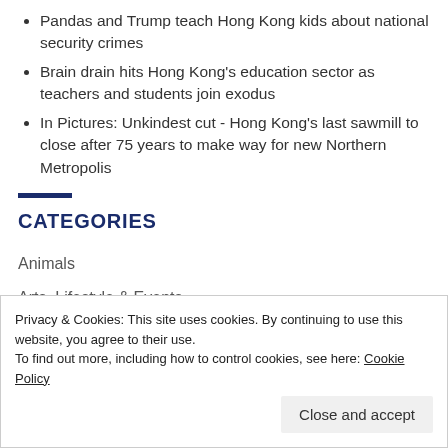Pandas and Trump teach Hong Kong kids about national security crimes
Brain drain hits Hong Kong's education sector as teachers and students join exodus
In Pictures: Unkindest cut - Hong Kong's last sawmill to close after 75 years to make way for new Northern Metropolis
CATEGORIES
Animals
Arts, Lifestyle & Events
Privacy & Cookies: This site uses cookies. By continuing to use this website, you agree to their use.
To find out more, including how to control cookies, see here: Cookie Policy
Close and accept
Defence & Foreign Policy